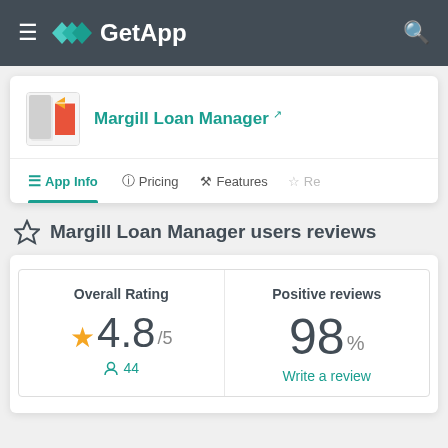GetApp
Margill Loan Manager
App Info | Pricing | Features | Re
Margill Loan Manager users reviews
| Overall Rating | Positive reviews |
| --- | --- |
| ★ 4.8/5 | 98% |
| 👤 44 | Write a review |